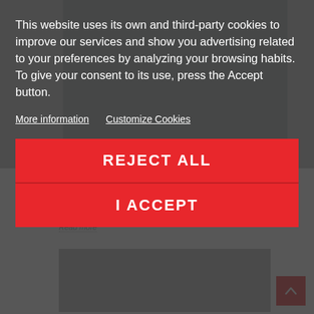[Figure (screenshot): Background website page showing a Suzuki Jimny vehicle image and page content, dimmed behind cookie consent overlay]
This website uses its own and third-party cookies to improve our services and show you advertising related to your preferences by analyzing your browsing habits. To give your consent to its use, press the Accept button.
More information
Customize Cookies
REJECT ALL
I ACCEPT
8214 views
Our brand new Suzuki Jimny 2018 (JB74) modified by ORE4x4.
Read more